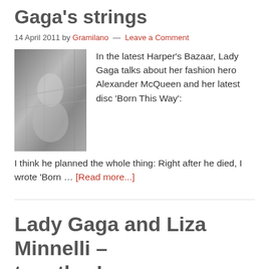Gaga's strings
14 April 2011 by Gramilano — Leave a Comment
[Figure (photo): Photo of Lady Gaga in a metallic/silver outfit, seated on or near industrial equipment]
In the latest Harper's Bazaar, Lady Gaga talks about her fashion hero Alexander McQueen and her latest disc 'Born This Way': I think he planned the whole thing: Right after he died, I wrote 'Born … [Read more...]
Lady Gaga and Liza Minnelli – together!
27 February 2011 by Gramilano — Leave a Comment